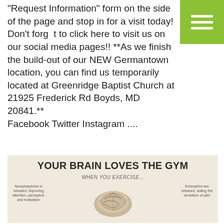"Request Information" form on the side of the page and stop in for a visit today! Don't forget to click here to visit us on our social media pages!! **As we finish the build-out of our NEW Germantown location, you can find us temporarily located at Greenridge Baptist Church at 21925 Frederick Rd Boyds, MD 20841.** Facebook Twitter Instagram ....
[Figure (other): Green hamburger menu button with three white horizontal bars]
READ MORE
[Figure (infographic): Infographic titled 'YOUR BRAIN LOVES THE GYM' with subtitle 'WHEN YOU EXERCISE...' showing a brain illustration with annotations. Left side: 'Norepinephrine is released, improving attention, perception and motivation'. Right side: 'Endorphins are released, dulling the sensation of pain'.]